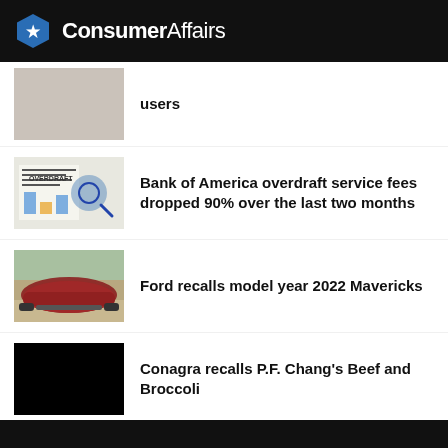ConsumerAffairs
users
Bank of America overdraft service fees dropped 90% over the last two months
Ford recalls model year 2022 Mavericks
Conagra recalls P.F. Chang's Beef and Broccoli
KTM recalls Husqvarna and KTM motorcycles with TKC80 tires
Nearly 1.4 million DeWALT miter saws recalled